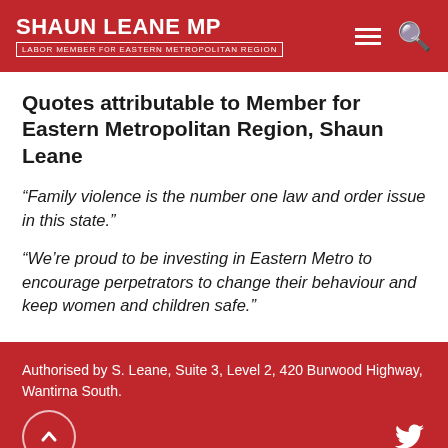SHAUN LEANE MP — LABOR MEMBER for EASTERN METROPOLITAN REGION
Quotes attributable to Member for Eastern Metropolitan Region, Shaun Leane
“Family violence is the number one law and order issue in this state.”
“We’re proud to be investing in Eastern Metro to encourage perpetrators to change their behaviour and keep women and children safe.”
Authorised by S. Leane, Suite 3, Level 2, 420 Burwood Highway, Wantirna South.